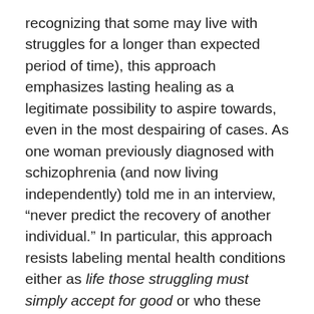recognizing that some may live with struggles for a longer than expected period of time), this approach emphasizes lasting healing as a legitimate possibility to aspire towards, even in the most despairing of cases. As one woman previously diagnosed with schizophrenia (and now living independently) told me in an interview, “never predict the recovery of another individual.” In particular, this approach resists labeling mental health conditions either as life those struggling must simply accept for good or who these people are (“my son is ADHD…my husband is bipolar”).
Depending on the distinct interpretation of recovery adopted, it seems clear that practical, measurable consequences for prognosis and long-term healing can ensue (see our in-depth review paper of some of these potential consequences).